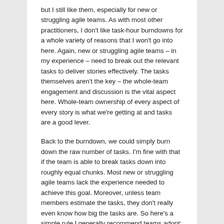but I still like them, especially for new or struggling agile teams. As with most other practitioners, I don't like task-hour burndowns for a whole variety of reasons that I won't go into here. Again, new or struggling agile teams – in my experience – need to break out the relevant tasks to deliver stories effectively. The tasks themselves aren't the key – the whole-team engagement and discussion is the vital aspect here. Whole-team ownership of every aspect of every story is what we're getting at and tasks are a good lever.
Back to the burndown, we could simply burn down the raw number of tasks. I'm fine with that if the team is able to break tasks down into roughly equal chunks. Most new or struggling agile teams lack the experience needed to achieve this goal. Moreover, unless team members estimate the tasks, they don't really even know how big the tasks are. So here's a simple rule I generally recommend teams adopt: Estimate tasks in half-day/day increments. Any task larger than a day is on the block to be chopped down to size. It's just another feedback loop I